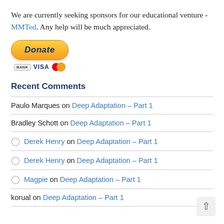We are currently seeking sponsors for our educational venture - MMTed. Any help will be much appreciated.
[Figure (other): PayPal Donate button with credit card icons (BANK, VISA, Mastercard)]
Recent Comments
Paulo Marques on Deep Adaptation – Part 1
Bradley Schott on Deep Adaptation – Part 1
Derek Henry on Deep Adaptation – Part 1
Derek Henry on Deep Adaptation – Part 1
Magpie on Deep Adaptation – Part 1
korual on Deep Adaptation – Part 1